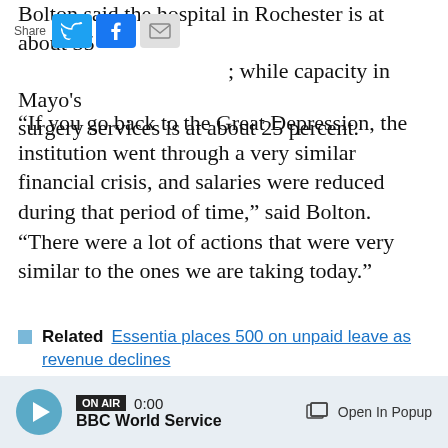Bolton said the hospital in Rochester is at about 35 percent capacity; while capacity in Mayo's surgery services is at about 25 percent.
“If you go back to the Great Depression, the institution went through a very similar financial crisis, and salaries were reduced during that period of time,” said Bolton. “There were a lot of actions that were very similar to the ones we are taking today.”
Related  Essentia places 500 on unpaid leave as revenue declines
Testing  Mayo Clinic expects COVID-19 antibody test to be ready Monday
ON AIR 0:00 BBC World Service  Open In Popup